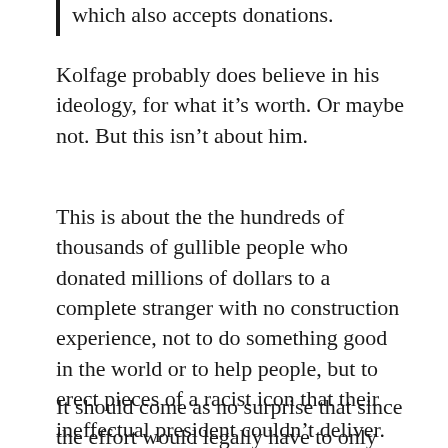which also accepts donations.
Kolfage probably does believe in his ideology, for what it’s worth. Or maybe not. But this isn’t about him.
This is about the the hundreds of thousands of gullible people who donated millions of dollars to a complete stranger with no construction experience, not to do something good in the world or to help people, but to erect pieces of a racist icon that their ineffectual president couldn’t deliver.
It should come as no surprise that since the effort would legally have to only take place on